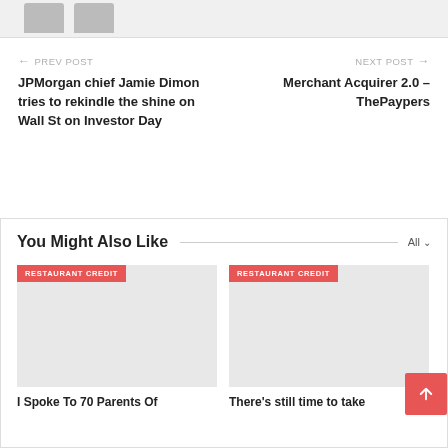[Figure (photo): Top cropped image area showing partial avatar/profile placeholder silhouettes on a light gray background]
← PREV POST
JPMorgan chief Jamie Dimon tries to rekindle the shine on Wall St on Investor Day
NEXT POST →
Merchant Acquirer 2.0 – ThePaypers
You Might Also Like
[Figure (photo): RESTAURANT CREDIT tag with gray placeholder image below]
[Figure (photo): RESTAURANT CREDIT tag with gray placeholder image below]
I Spoke To 70 Parents Of
There's still time to take